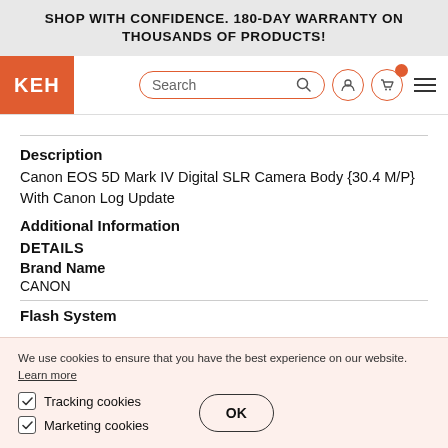SHOP WITH CONFIDENCE. 180-DAY WARRANTY ON THOUSANDS OF PRODUCTS!
[Figure (logo): KEH camera logo in orange rectangle, with search bar, user icon, cart icon with orange badge, and hamburger menu]
Description
Canon EOS 5D Mark IV Digital SLR Camera Body {30.4 M/P} With Canon Log Update
Additional Information
DETAILS
Brand Name
CANON
Flash System
We use cookies to ensure that you have the best experience on our website. Learn more
Tracking cookies
Marketing cookies